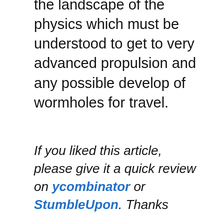the landscape of the physics which must be understood to get to very advanced propulsion and any possible develop of wormholes for travel.
If you liked this article, please give it a quick review on ycombinator or StumbleUpon. Thanks
[Figure (photo): Author avatar placeholder image (grey rectangle)]
Brian Wang
Brian Wang is a Futurist Thought Leader and a